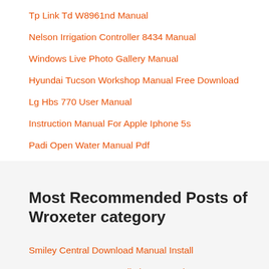Tp Link Td W8961nd Manual
Nelson Irrigation Controller 8434 Manual
Windows Live Photo Gallery Manual
Hyundai Tucson Workshop Manual Free Download
Lg Hbs 770 User Manual
Instruction Manual For Apple Iphone 5s
Padi Open Water Manual Pdf
Most Recommended Posts of Wroxeter category
Smiley Central Download Manual Install
Lynx Garage Door Installation Manual